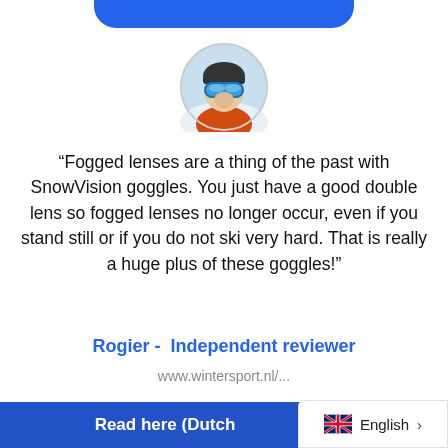[Figure (photo): Circular avatar photo of a person wearing ski goggles and a helmet on a snowy mountain]
“Fogged lenses are a thing of the past with SnowVision goggles. You just have a good double lens so fogged lenses no longer occur, even if you stand still or if you do not ski very hard. That is really a huge plus of these goggles!”
Rogier -  Independent reviewer
www.wintersport.nl/...
Read here (Dutch